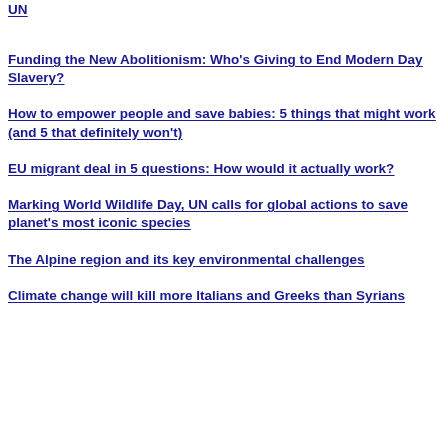UN
Funding the New Abolitionism: Who's Giving to End Modern Day Slavery?
How to empower people and save babies: 5 things that might work (and 5 that definitely won't)
EU migrant deal in 5 questions: How would it actually work?
Marking World Wildlife Day, UN calls for global actions to save planet's most iconic species
The Alpine region and its key environmental challenges
Climate change will kill more Italians and Greeks than Syrians